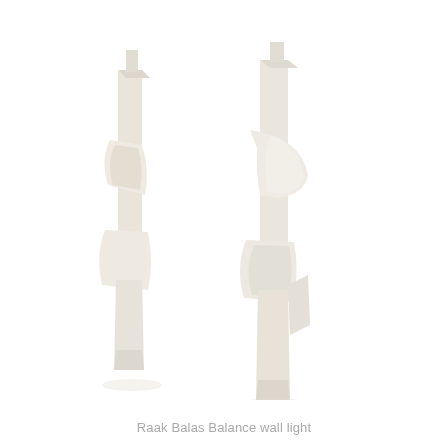[Figure (photo): Two cream/off-white sculptural wall lights (Raak Balas Balance wall light) shown side by side on a white background. Each light consists of intersecting curved and flat geometric panels forming an abstract sculptural form.]
Raak Balas Balance wall light